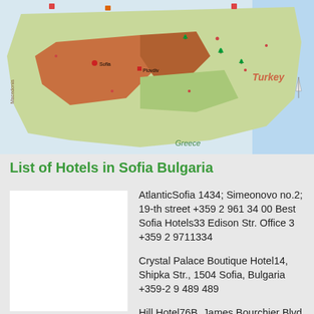[Figure (map): Illustrated tourist map of Bulgaria showing cities, landmarks, neighboring countries (Greece, Turkey, Macedonia), major regions, and topographic features in color.]
List of Hotels in Sofia Bulgaria
[Figure (photo): White rectangular image placeholder for hotel photo.]
AtlanticSofia 1434; Simeonovo no.2; 19-th street +359 2 961 34 00 Best Sofia Hotels33 Edison Str. Office 3 +359 2 9711334
Crystal Palace Boutique Hotel14, Shipka Str., 1504 Sofia, Bulgaria +359-2 9 489 489
Hill Hotel76B, James Bourchier Blvd., 1407 Sofia, Bulgaria +359-